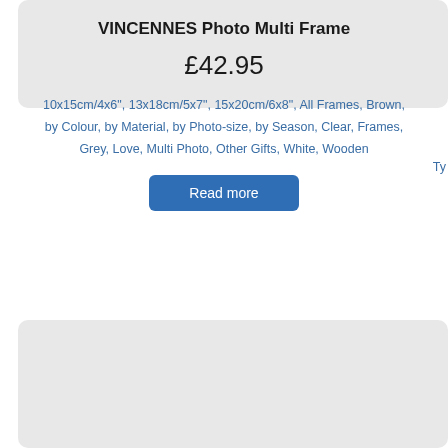VINCENNES Photo Multi Frame
£42.95
10x15cm/4x6", 13x18cm/5x7", 15x20cm/6x8", All Frames, Brown, by Colour, by Material, by Photo-size, by Season, Clear, Frames, Grey, Love, Multi Photo, Other Gifts, White, Wooden
Read more
[Figure (other): Partially visible product card below, showing a light grey image placeholder area within a card with rounded corners.]